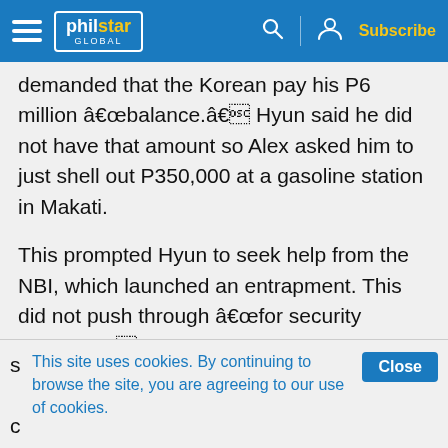philstar GLOBAL — Subscribe
demanded that the Korean pay his P6 million “balance.” Hyun said he did not have that amount so Alex asked him to just shell out P350,000 at a gasoline station in Makati.
This prompted Hyun to seek help from the NBI, which launched an entrapment. This did not push through “for security reasons” and Alex’s failure to arrive at the scene, the NBI said.
The NBI said it obtained the footage taken by
This site uses cookies. By continuing to browse the site, you are agreeing to our use of cookies.